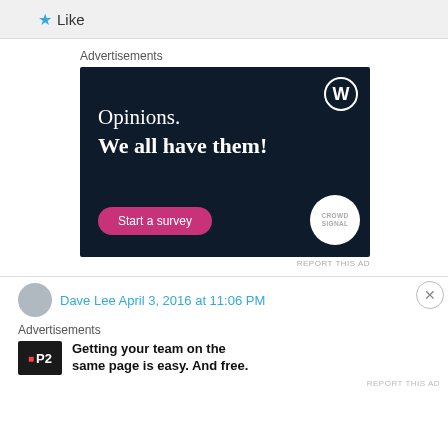[Figure (screenshot): Like button with blue star icon at top of page]
Advertisements
[Figure (screenshot): Dark navy advertisement banner for Crowdsignal/WordPress: 'Opinions. We all have them!' with a pink 'Start a survey' button and WordPress logo]
REPORT THIS AD
Dave Lee April 3, 2016 at 11:06 PM
Advertisements
[Figure (screenshot): P2 advertisement: 'Getting your team on the same page is easy. And free.']
REPORT THIS AD